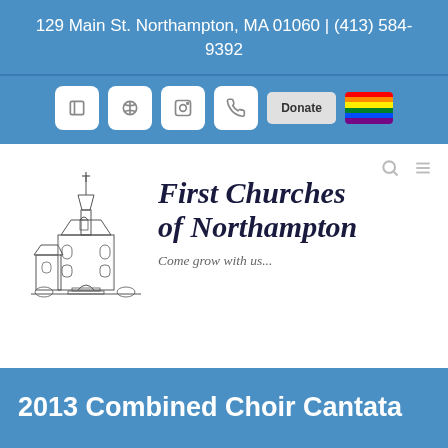129 Main St. Northampton, MA 01060 | (413) 584-9392
[Figure (screenshot): Navigation bar with social media icon buttons, a Donate button, and a rainbow flag icon]
[Figure (illustration): Sketch illustration of a church building (First Churches of Northampton)]
First Churches of Northampton
Come grow with us...
2013 Combined Choir Cantata